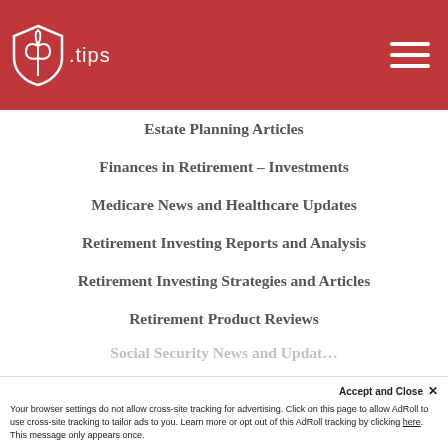[Figure (logo): White tulip/shield logo with '.tips' text on red header background]
Estate Planning Articles
Finances in Retirement – Investments
Medicare News and Healthcare Updates
Retirement Investing Reports and Analysis
Retirement Investing Strategies and Articles
Retirement Product Reviews
Social Security News and Updat…
Accept and Close ✕
Your browser settings do not allow cross-site tracking for advertising. Click on this page to allow AdRoll to use cross-site tracking to tailor ads to you. Learn more or opt out of this AdRoll tracking by clicking here. This message only appears once.